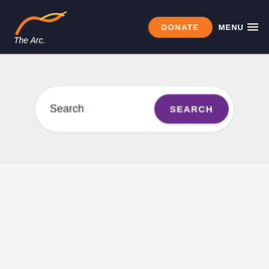[Figure (logo): The Arc logo: orange and yellow arc/wave symbol above italic white text 'The Arc.']
DONATE
MENU
Search
SEARCH